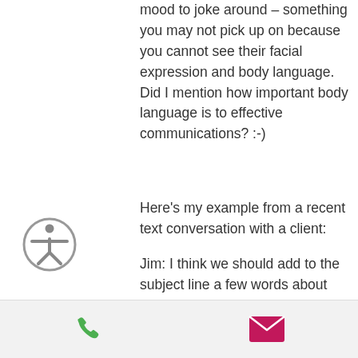mood to joke around – something you may not pick up on because you cannot see their facial expression and body language. Did I mention how important body language is to effective communications? :-)
Here's my example from a recent text conversation with a client:
Jim: I think we should add to the subject line a few words about the sponsors.
Kippy: Do you see the second line that mentions the sponsors by name?
[Figure (illustration): Accessibility icon: a circular grey icon with a stick figure person with outstretched arms, representing accessibility.]
[Figure (infographic): Bottom bar with a green phone icon and a magenta/pink envelope email icon on a light grey background.]